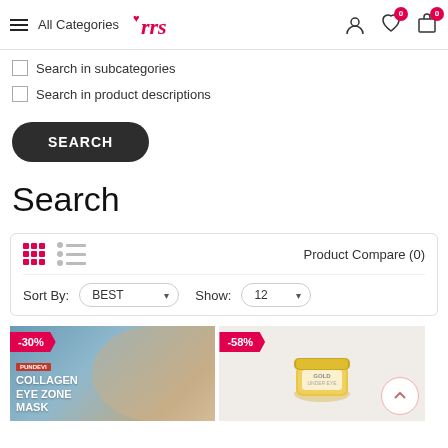Navigation bar with All Categories, logo, user icon, wishlist (0), cart (0)
Search in subcategories
Search in product descriptions
SEARCH
Search
Product Compare (0)
Sort By: BEST   Show: 12
[Figure (photo): Product card with -30% discount badge, Collagen Eye Zone Mask product image]
[Figure (photo): Product card with -58% discount badge, gold jar cosmetic product]